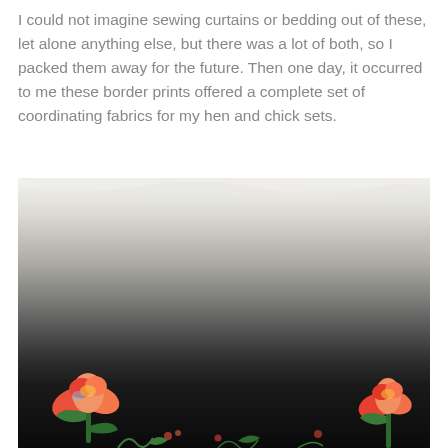I could not imagine sewing curtains or bedding out of these, let alone anything else, but there was a lot of both, so I packed them away for the future. Then one day, it occurred to me these border prints offered a complete set of coordinating fabrics for my hen and chick sets.
[Figure (photo): A close-up photograph of a fabric featuring a gradient ombre pattern from white/cream at the top to dark black at the bottom, with dense tiny speckled floral/leaf print throughout. Along the bottom border are large, colorful tulip flowers in red, orange, yellow, and pink with green stems and leaves on a dark background.]